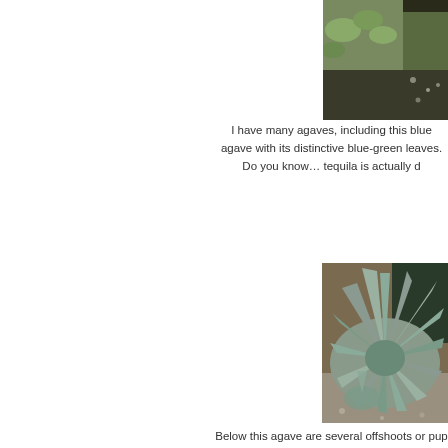[Figure (photo): Top portion of a photo showing green succulent plants and gravel, cropped at upper right of page]
I have many agaves, including this blue agave with its distinctive blue-green leaves. Do you know… tequila is actually d
[Figure (photo): Large blue agave plant with long pointed blue-gray leaves growing in gravel and soil, with other plants in background]
Below this agave are several offshoots or pup they are separated from the main plant